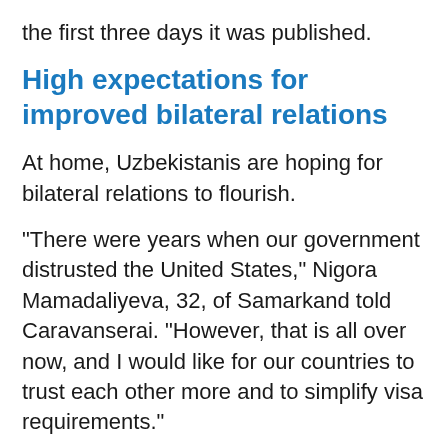the first three days it was published.
High expectations for improved bilateral relations
At home, Uzbekistanis are hoping for bilateral relations to flourish.
"There were years when our government distrusted the United States," Nigora Mamadaliyeva, 32, of Samarkand told Caravanserai. "However, that is all over now, and I would like for our countries to trust each other more and to simplify visa requirements."
Some citizens hope the meeting will bring more joint economic ventures and US investments to Uzbekistan.